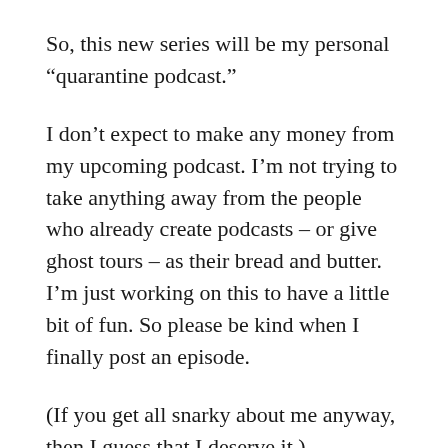So, this new series will be my personal “quarantine podcast.”
I don’t expect to make any money from my upcoming podcast. I’m not trying to take anything away from the people who already create podcasts – or give ghost tours – as their bread and butter. I’m just working on this to have a little bit of fun. So please be kind when I finally post an episode.
(If you get all snarky about me anyway, then I guess that I deserve it.)
In the meantime, here is a virtual flower show for you to enjoy.